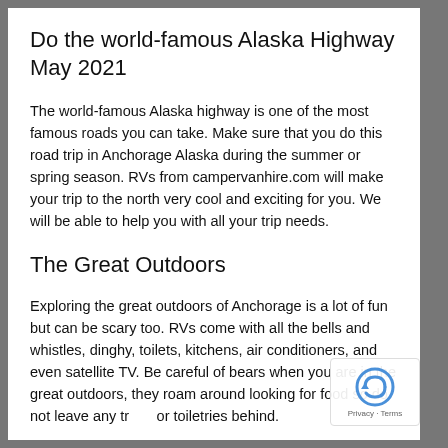Do the world-famous Alaska Highway May 2021
The world-famous Alaska highway is one of the most famous roads you can take. Make sure that you do this road trip in Anchorage Alaska during the summer or spring season. RVs from campervanhire.com will make your trip to the north very cool and exciting for you. We will be able to help you with all your trip needs.
The Great Outdoors
Exploring the great outdoors of Anchorage is a lot of fun but can be scary too. RVs come with all the bells and whistles, dinghy, toilets, kitchens, air conditioners, and even satellite TV. Be careful of bears when you are in the great outdoors, they roam around looking for food so do not leave any trash or toiletries behind.
Exploring the city